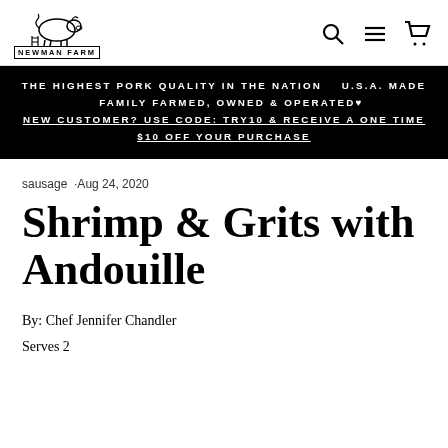NEWMAN FARM
THE HIGHEST PORK QUALITY IN THE NATION  U.S.A. MADE  FAMILY FARMED, OWNED & OPERATED♥
NEW CUSTOMER? USE CODE: TRY10 & RECEIVE A ONE TIME $10 OFF YOUR PURCHASE
sausage · Aug 24, 2020
Shrimp & Grits with Andouille
By: Chef Jennifer Chandler
Serves 2